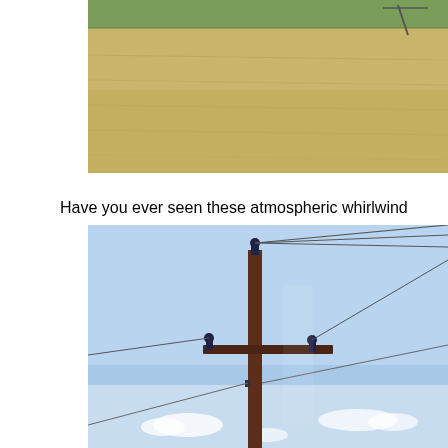[Figure (photo): Aerial or ground-level photo of a flat agricultural field, tan/golden wheat or harvested crop, with green vegetation at the top and irrigation equipment visible at top right. Image is cropped, showing the right portion of the scene on a white background.]
Have you ever seen these atmospheric whirlwind
[Figure (photo): Photo of a wooden utility/power pole with cross-arm, insulators, and multiple electrical wires against a clear blue sky with small white clouds near the horizon. The pole is dark reddish-brown. Image is cropped on the right, extending beyond the page boundary.]